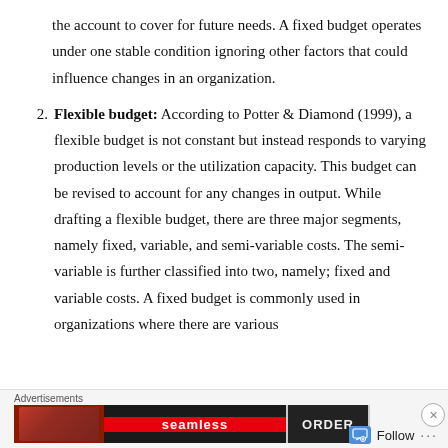the account to cover for future needs. A fixed budget operates under one stable condition ignoring other factors that could influence changes in an organization.
2. Flexible budget: According to Potter & Diamond (1999), a flexible budget is not constant but instead responds to varying production levels or the utilization capacity. This budget can be revised to account for any changes in output. While drafting a flexible budget, there are three major segments, namely fixed, variable, and semi-variable costs. The semi-variable is further classified into two, namely; fixed and variable costs. A fixed budget is commonly used in organizations where there are various
[Figure (other): Advertisement banner: Seamless food delivery ORDER button with pizza imagery, close button, Advertisements label, Follow button with dots menu]